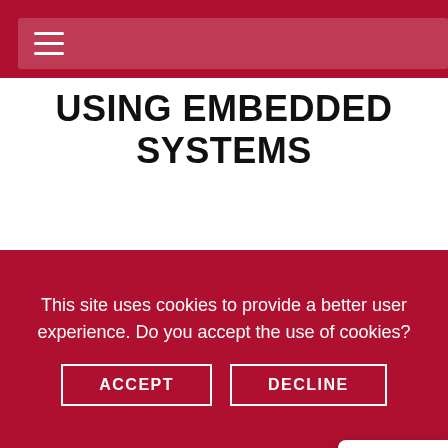USING EMBEDDED SYSTEMS
APPLICATION STORY
Taxicab Mounted Mobile Video Graphics Display
You can't go to a large city, such as
This site uses cookies to provide a better user experience. Do you accept the use of cookies?
ACCEPT
DECLINE